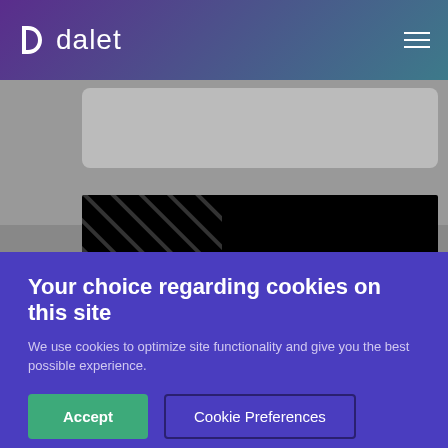[Figure (logo): Dalet company logo in white on purple-teal gradient header bar with hamburger menu icon]
[Figure (screenshot): Black video thumbnail showing Dalet and Ooyala logos side by side on dark background with diagonal stripe pattern on left]
Your choice regarding cookies on this site
We use cookies to optimize site functionality and give you the best possible experience.
Accept
Cookie Preferences